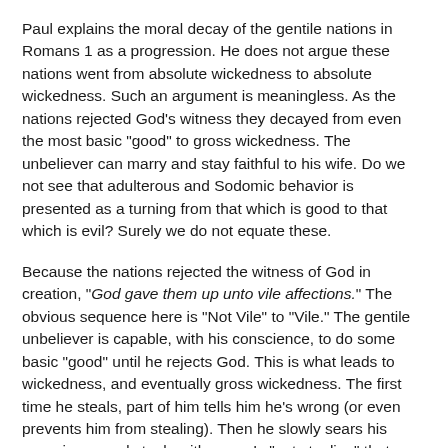Paul explains the moral decay of the gentile nations in Romans 1 as a progression. He does not argue these nations went from absolute wickedness to absolute wickedness. Such an argument is meaningless. As the nations rejected God's witness they decayed from even the most basic "good" to gross wickedness. The unbeliever can marry and stay faithful to his wife. Do we not see that adulterous and Sodomic behavior is presented as a turning from that which is good to that which is evil? Surely we do not equate these.
Because the nations rejected the witness of God in creation, "God gave them up unto vile affections." The obvious sequence here is "Not Vile" to "Vile." The gentile unbeliever is capable, with his conscience, to do some basic "good" until he rejects God. This is what leads to wickedness, and eventually gross wickedness. The first time he steals, part of him tells him he's wrong (or even prevents him from stealing). Then he slowly sears his conscience and steals with ease. Is "not stealing" that same as "stealing?"
Keeping One Law Is Still Keeping One Law